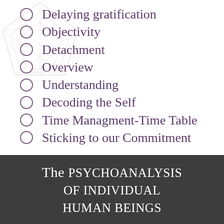Delaying gratification
Objectivity
Detachment
Overview
Understanding
Decoding the Self
Time Managment-Time Table
Sticking to our Commitment
The psychoanalysis of individual human beings